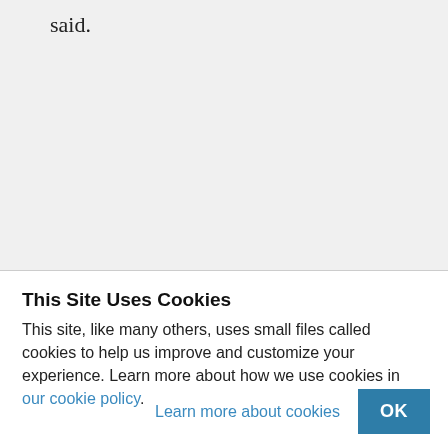said.
This Site Uses Cookies
This site, like many others, uses small files called cookies to help us improve and customize your experience. Learn more about how we use cookies in our cookie policy.
Learn more about cookies
OK